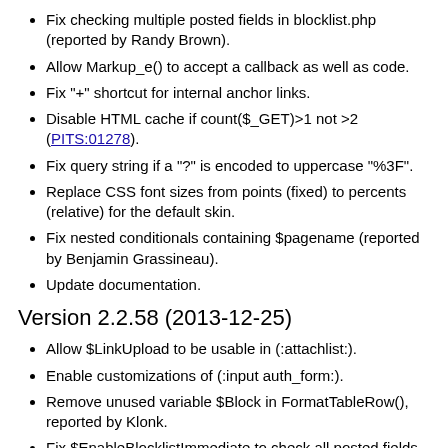Fix checking multiple posted fields in blocklist.php (reported by Randy Brown).
Allow Markup_e() to accept a callback as well as code.
Fix "+" shortcut for internal anchor links.
Disable HTML cache if count($_GET)>1 not >2 (PITS:01278).
Fix query string if a "?" is encoded to uppercase "%3F".
Replace CSS font sizes from points (fixed) to percents (relative) for the default skin.
Fix nested conditionals containing $pagename (reported by Benjamin Grassineau).
Update documentation.
Version 2.2.58 (2013-12-25)
Allow $LinkUpload to be usable in (:attachlist:).
Enable customizations of (:input auth_form:).
Remove unused variable $Block in FormatTableRow(), reported by Klonk.
Fix $EnableBlocklistImmediate to check all posted fields for...